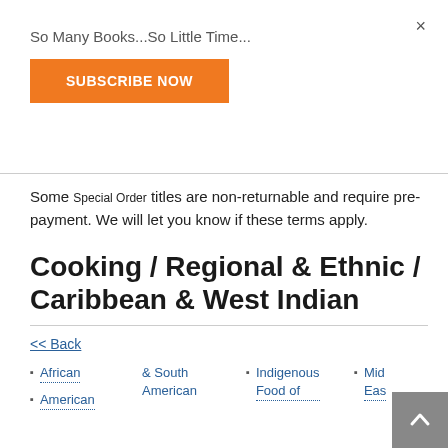×
So Many Books...So Little Time...
SUBSCRIBE NOW
Some Special Order titles are non-returnable and require pre-payment. We will let you know if these terms apply.
Cooking / Regional & Ethnic / Caribbean & West Indian
<< Back
African
American
& South American
Indigenous Food of
Mid East